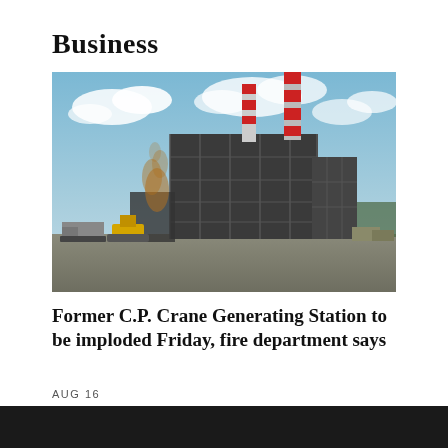Business
[Figure (photo): An industrial power plant or generating station building under demolition. A large multi-story dark steel-frame structure dominates the center, with two tall chimneys (red and white striped) rising behind it. Brown/yellow smoke rises from the left side where demolition machinery including a yellow excavator and trucks are visible in the foreground. Blue sky with clouds in background.]
Former C.P. Crane Generating Station to be imploded Friday, fire department says
AUG 16